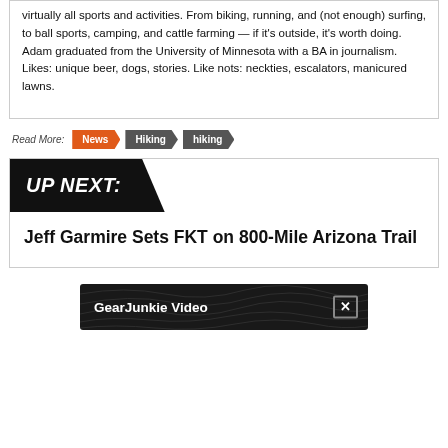virtually all sports and activities. From biking, running, and (not enough) surfing, to ball sports, camping, and cattle farming — if it's outside, it's worth doing. Adam graduated from the University of Minnesota with a BA in journalism. Likes: unique beer, dogs, stories. Like nots: neckties, escalators, manicured lawns.
Read More: News  Hiking  hiking
UP NEXT:
Jeff Garmire Sets FKT on 800-Mile Arizona Trail
[Figure (other): GearJunkie Video banner with dark background and topographic map pattern, showing 'GearJunkie Video' label and a close (×) button]